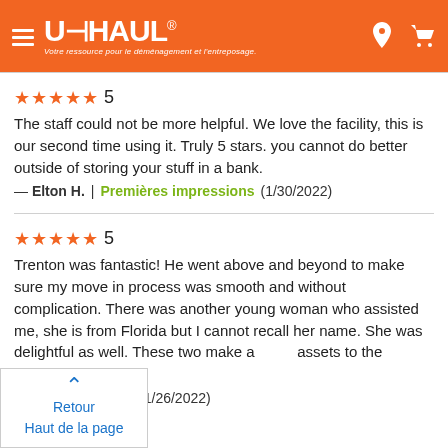[Figure (logo): U-Haul logo and navigation header on orange background with hamburger menu, U-HAUL wordmark, tagline 'Votre ressource pour le déménagement et l'entreposage.', location pin icon and cart icon]
★★★★★ 5
The staff could not be more helpful. We love the facility, this is our second time using it. Truly 5 stars. you cannot do better outside of storing your stuff in a bank.
— Elton H. | Premières impressions (1/30/2022)
★★★★★ 5
Trenton was fantastic! He went above and beyond to make sure my move in process was smooth and without complication. There was another young woman who assisted me, she is from Florida but I cannot recall her name. She was delightful as well. These two make a [great] assets to the company.
— [Premières impressions] (1/26/2022)
Retour
Haut de la page